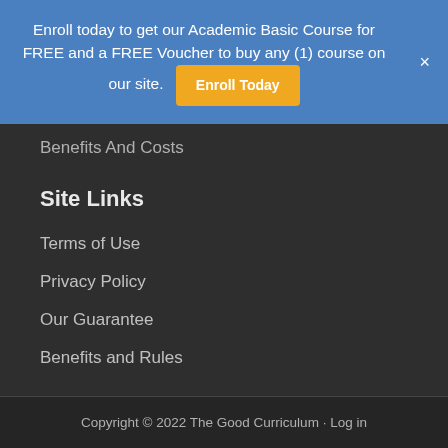Enroll today to get our Academic Basic Course for FREE and a FREE Voucher to buy any (1) course on our site. Enroll Today ×
Benefits And Costs
Site Links
Terms of Use
Privacy Policy
Our Guarantee
Benefits and Rules
Copyright © 2022 The Good Curriculum · Log in